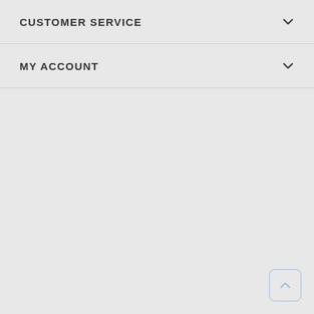CUSTOMER SERVICE
MY ACCOUNT
[Figure (screenshot): Back to top button, a square button with rounded corners and a blue border containing an upward chevron arrow]